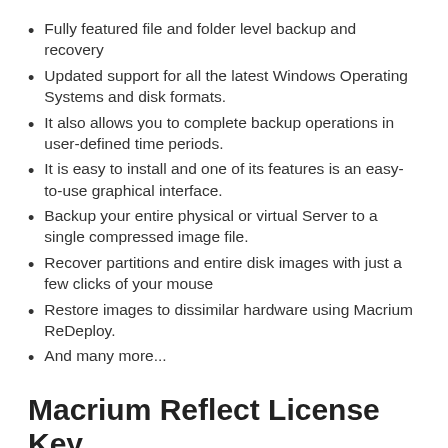Fully featured file and folder level backup and recovery
Updated support for all the latest Windows Operating Systems and disk formats.
It also allows you to complete backup operations in user-defined time periods.
It is easy to install and one of its features is an easy-to-use graphical interface.
Backup your entire physical or virtual Server to a single compressed image file.
Recover partitions and entire disk images with just a few clicks of your mouse
Restore images to dissimilar hardware using Macrium ReDeploy.
And many more...
Macrium Reflect License Key